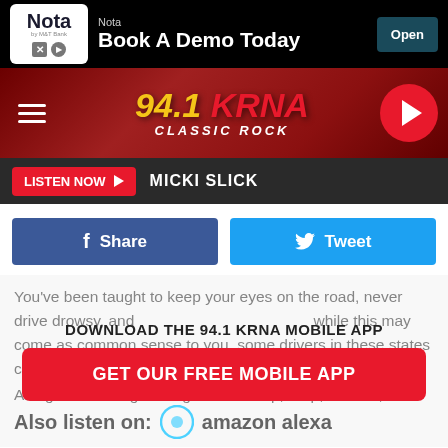[Figure (screenshot): Nota bank advertisement banner: logo, 'Book A Demo Today' headline, Open button]
[Figure (logo): 94.1 KRNA Classic Rock radio station header with hamburger menu and play button]
LISTEN NOW ▶   MICKI SLICK
f Share
Tweet
You've been taught to keep your eyes on the road, never drive drowsy, and never text while driving... while this may come as common sense to you, some drivers in these states could apparently use a few reminders.
DOWNLOAD THE 94.1 KRNA MOBILE APP
GET OUR FREE MOBILE APP
Along with "stranger danger" and "stop, drop, and roll," looking both ways before crossing the street is one of the first lessons, safety-related or otherwise, that toddlers ever learn. This is thanks to the unfortunate reality that our
Also listen on:  amazon alexa